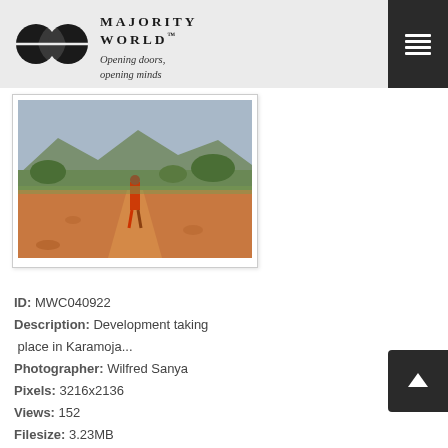MAJORITY WORLD™ Opening doors, opening minds
[Figure (photo): Landscape photo of a person in red/orange clothing walking on a dirt path in Karamoja, Uganda. Mountains and dry savanna vegetation in background.]
ID: MWC040922
Description: Development taking place in Karamoja...
Photographer: Wilfred Sanya
Pixels: 3216x2136
Views: 152
Filesize: 3.23MB
Filename: MWC040922.jpg
Owner: Wilfred Sanya
Added: Aug 3, 2021